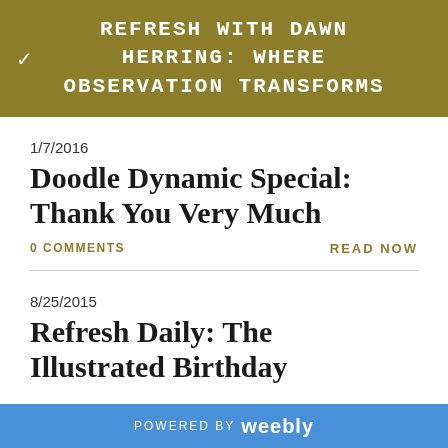REFRESH WITH DAWN HERRING: WHERE OBSERVATION TRANSFORMS
1/7/2016
Doodle Dynamic Special: Thank You Very Much
0 COMMENTS
READ NOW
8/25/2015
Refresh Daily: The Illustrated Birthday
POWERED BY weebly